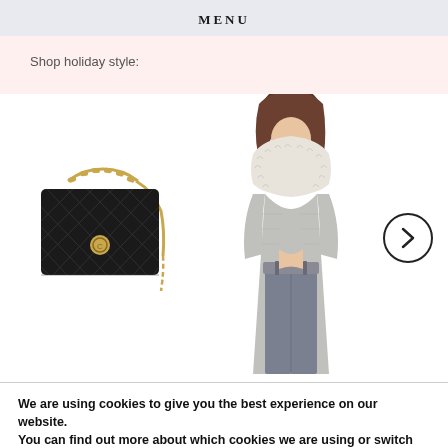MENU
Shop holiday style:
[Figure (photo): Black quilted Chanel-style shoulder bag with gold chain strap and gold turn-lock clasp on white background]
[Figure (photo): Woman wearing a grey cropped cardigan with a large white fur collar, grey high-waisted jeans, on white background]
We are using cookies to give you the best experience on our website.
You can find out more about which cookies we are using or switch them off in settings.
Close